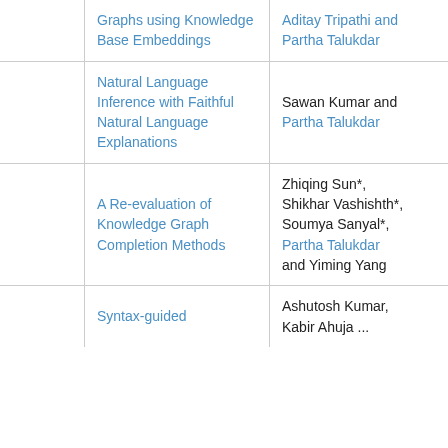|  | Title | Authors | Venue |
| --- | --- | --- | --- |
|  | Graphs using Knowledge Base Embeddings | Aditay Tripathi and Partha Talukdar | ACL 2020 |
|  | Natural Language Inference with Faithful Natural Language Explanations | Sawan Kumar and Partha Talukdar | ACL 2020 |
|  | A Re-evaluation of Knowledge Graph Completion Methods | Zhiqing Sun*, Shikhar Vashishth*, Soumya Sanyal*, Partha Talukdar and Yiming Yang | ACL 2020 |
|  | Syntax-guided | Ashutosh Kumar, Kabir Ahuja ... |  |